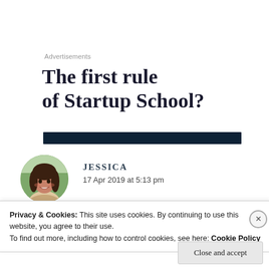Advertisements
The first rule of Startup School?
[Figure (other): A dark navy horizontal bar, possibly a partially loaded image placeholder]
[Figure (photo): Circular profile photo of a young woman with long dark hair, smiling, outdoors with green background]
JESSICA
17 Apr 2019 at 5:13 pm
Privacy & Cookies: This site uses cookies. By continuing to use this website, you agree to their use.
To find out more, including how to control cookies, see here: Cookie Policy
Close and accept